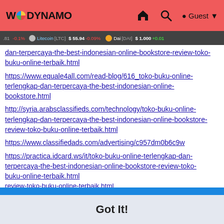WoDynamo — navigation bar with logo, home, search, Guest icons
Litecoin [LTC] $55.94 -0.09% Dai [DAI] $1.000 +0.01%
dan-terpercaya-the-best-indonesian-online-bookstore-review-toko-buku-online-terbaik.html
https://www.equale4all.com/read-blog/616_toko-buku-online-terlengkap-dan-terpercaya-the-best-indonesian-online-bookstore.html
http://syria.arabsclassifieds.com/technology/toko-buku-online-terlengkap-dan-terpercaya-the-best-indonesian-online-bookstore-review-toko-buku-online-terbaik.html
https://www.classifiedads.com/advertising/c957dm0b6c9w
https://practica.idcard.ws/it/toko-buku-online-terlengkap-dan-terpercaya-the-best-indonesian-online-bookstore-review-toko-buku-online-terbaik.html
This website uses cookies to ensure you get the best experience on our website. Learn More
Got It!
review-toko-buku-online-terbaik.html